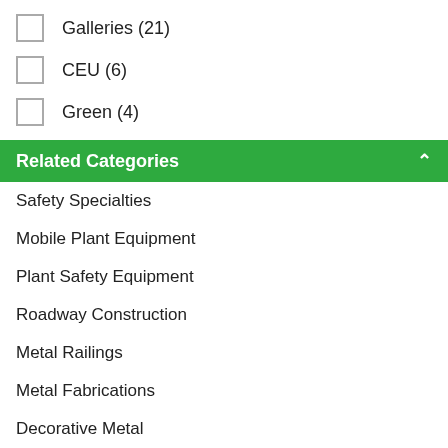Galleries (21)
CEU (6)
Green (4)
Related Categories
Safety Specialties
Mobile Plant Equipment
Plant Safety Equipment
Roadway Construction
Metal Railings
Metal Fabrications
Decorative Metal
See More